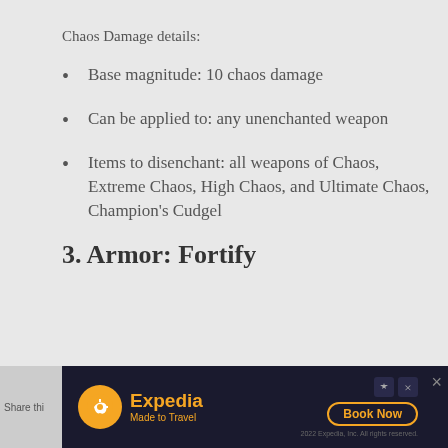Chaos Damage details:
Base magnitude: 10 chaos damage
Can be applied to: any unenchanted weapon
Items to disenchant: all weapons of Chaos, Extreme Chaos, High Chaos, and Ultimate Chaos, Champion's Cudgel
3. Armor: Fortify
Restoration